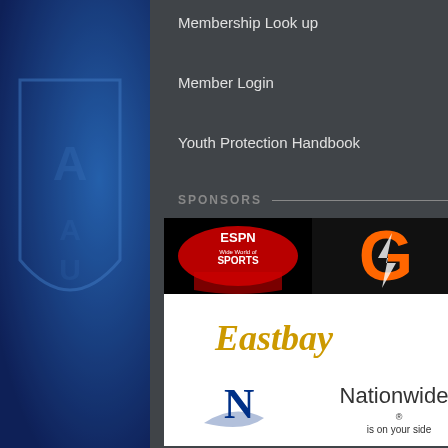Membership Look up
Member Login
Youth Protection Handbook
SPONSORS
[Figure (logo): Sponsors collage image showing logos: ESPN Wide World of Sports, Gatorade, Positive Coaching Alliance, Eastbay, Dallas Cowboys Sports, Nationwide is on your side, Captain U, Spalding, OAI Visual Branding, MTM Recognition, SaveAround]